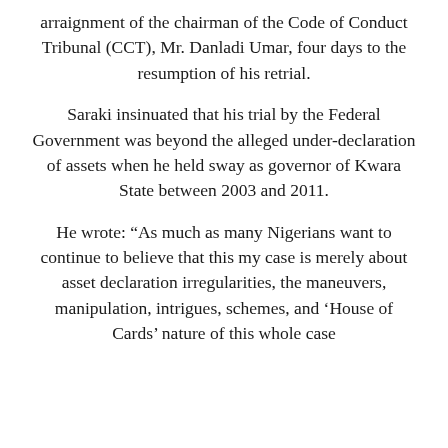arraignment of the chairman of the Code of Conduct Tribunal (CCT), Mr. Danladi Umar, four days to the resumption of his retrial.
Saraki insinuated that his trial by the Federal Government was beyond the alleged under-declaration of assets when he held sway as governor of Kwara State between 2003 and 2011.
He wrote: “As much as many Nigerians want to continue to believe that this my case is merely about asset declaration irregularities, the maneuvers, manipulation, intrigues, schemes, and ‘House of Cards’ nature of this whole case